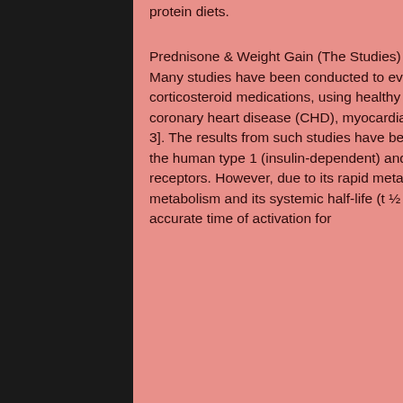protein diets.
Prednisone & Weight Gain (The Studies)
Many studies have been conducted to evaluate the side effect profile of prednisone and similar corticosteroid medications, using healthy volunteers and patients with diabetes, hypertension, coronary heart disease (CHD), myocardial infarction, stroke, congestive heart failure or pneumonia [2-3]. The results from such studies have been consistent: Prednisone is a potent and selective agonist of the human type 1 (insulin-dependent) and type 2 (insulin-independent) glucocorticoid (CGR2) receptors. However, due to its rapid metabolism, prednisone has a small and highly variable rate of metabolism and its systemic half-life (t ½ ) is between approximately 5 and 10 minutes [4]. Although an accurate time of activation for